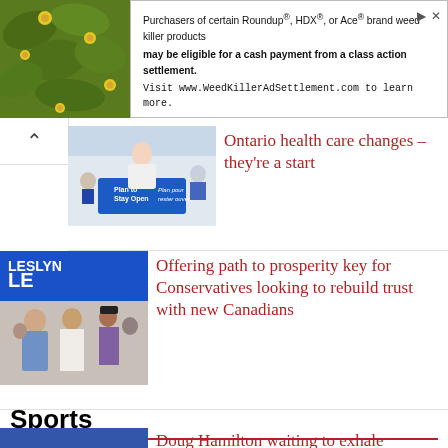[Figure (other): Advertisement banner: plant/floral image on left, text ad for WeedKillerAdSettlement.com on right]
Purchasers of certain Roundup®, HDX®, or Ace® brand weed killer products may be eligible for a cash payment from a class action settlement. Visit www.WeedKillerAdSettlement.com to learn more.
[Figure (photo): Photo of a woman in white coat speaking at podium with 'Plan to Stay Open / Plan pour rester ouvert' signage]
Ontario health care changes – they're a start
[Figure (photo): Photo of people at what appears to be a campaign or community event with 'LESLYN' signage]
Offering path to prosperity key for Conservatives looking to rebuild trust with new Canadians
Sports
[Figure (photo): Photo of Doug Hamilton at a sports venue with people in background]
Doug Hamilton waiting to exhale